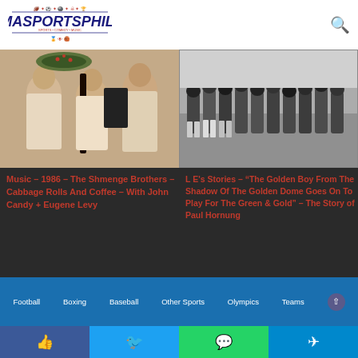IMASPORTSPHILE
[Figure (photo): Two men playing musical instruments (clarinet/accordion) with Christmas wreath in background - Shmenge Brothers]
Music – 1986 – The Shmenge Brothers – Cabbage Rolls And Coffee – With John Candy + Eugene Levy
[Figure (photo): Black and white photograph of football players lined up at scrimmage line]
L E's Stories – “The Golden Boy From The Shadow Of The Golden Dome Goes On To Play For The Green & Gold” – The Story of Paul Hornung
Football
Boxing
Baseball
Other Sports
Olympics
Teams